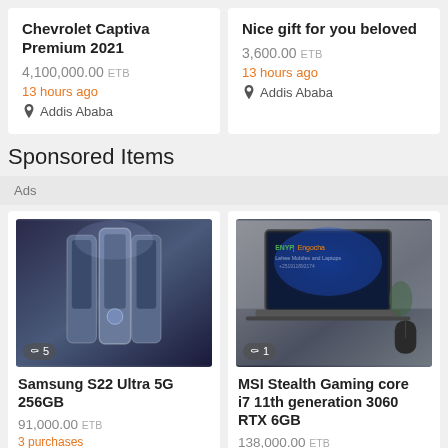Chevrolet Captiva Premium 2021
4,100,000.00 ETB
13 hours ago
Addis Ababa
Nice gift for you beloved
3,600.00 ETB
13 hours ago
Addis Ababa
Sponsored Items
Ads
[Figure (photo): Samsung S22 Ultra 5G phones displayed, multiple units]
Samsung S22 Ultra 5G 256GB
91,000.00 ETB
3 purchases
[Figure (photo): MSI Stealth Gaming laptop open on desk]
MSI Stealth Gaming core i7 11th generation 3060 RTX 6GB
138,000.00 ETB